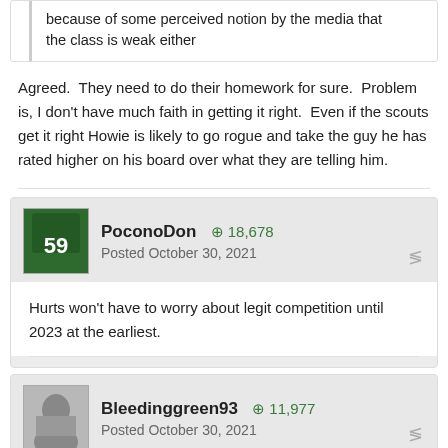because of some perceived notion by the media that the class is weak either
Agreed.  They need to do their homework for sure.  Problem is, I don't have much faith in getting it right.  Even if the scouts get it right Howie is likely to go rogue and take the guy he has rated higher on his board over what they are telling him.
PoconoDon  +18,678
Posted October 30, 2021
Hurts won't have to worry about legit competition until 2023 at the earliest.
Bleedinggreen93  +11,977
Posted October 30, 2021